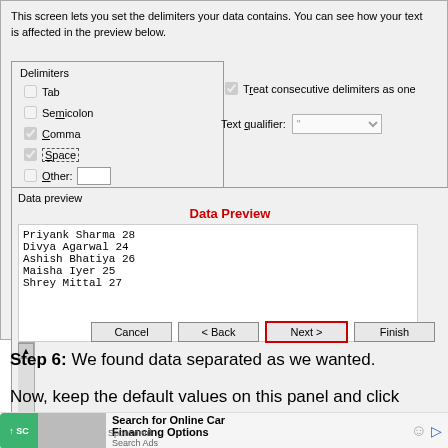[Figure (screenshot): Screenshot of a text import wizard step showing delimiter options (Tab, Semicolon, Comma checked, Space checked, Other), Treat consecutive delimiters as one checkbox, Text qualifier dropdown, Data Preview section with table preview showing names and ages, and Cancel/Back/Next/Finish buttons. Next button is highlighted with red border.]
Step 6: We found data separated as we wanted.
Now, keep the default values on this panel and click
[Figure (screenshot): Ad banner: Search for Online Car Financing Options - Search Ads]